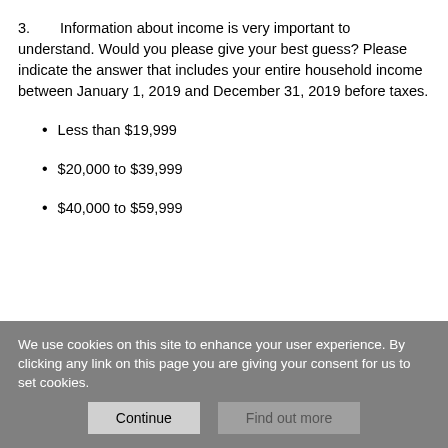3. Information about income is very important to understand. Would you please give your best guess? Please indicate the answer that includes your entire household income between January 1, 2019 and December 31, 2019 before taxes.
Less than $19,999
$20,000 to $39,999
$40,000 to $59,999
We use cookies on this site to enhance your user experience. By clicking any link on this page you are giving your consent for us to set cookies.